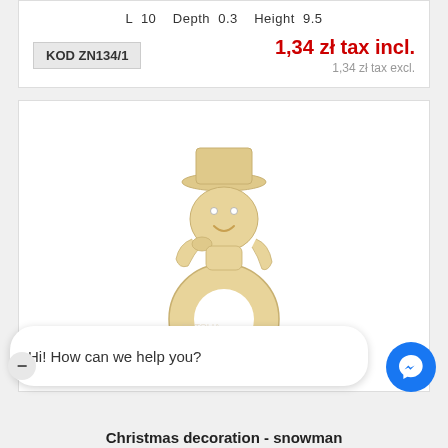L  10   Depth  0.3   Height  9.5
KOD ZN134/1
1,34 zł tax incl.
1,34 zł tax excl.
[Figure (photo): Wooden laser-cut snowman Christmas decoration shaped as a napkin ring, with a hat and scarf, light beige wood color, on white background with watermark]
Hi! How can we help you?
Christmas decoration - snowman